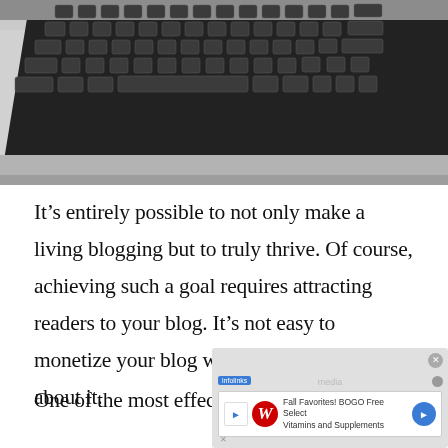[Figure (photo): Black and white close-up photo of a laptop keyboard viewed from an angle]
It’s entirely possible to not only make a living blogging but to truly thrive. Of course, achieving such a goal requires attracting readers to your blog. It’s not easy to monetize your blog when no one knows about it.
One of the most effective ways to attract a
[Figure (screenshot): Infolinks advertisement overlay showing a Walgreens ad: Fall Favorites! BOGO Free Select Vitamins and Supplements]